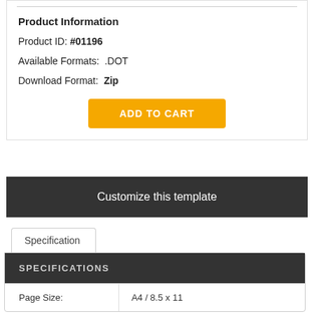Product Information
Product ID: #01196
Available Formats: .DOT
Download Format: Zip
ADD TO CART
Customize this template
Specification
SPECIFICATIONS
|  |  |
| --- | --- |
| Page Size: | A4 / 8.5 x 11 |